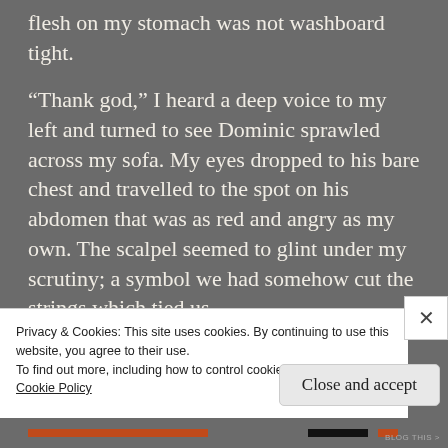flesh on my stomach was not washboard tight.
“Thank god,” I heard a deep voice to my left and turned to see Dominic sprawled across my sofa. My eyes dropped to his bare chest and travelled to the spot on his abdomen that was as red and angry as my own. The scalpel seemed to glint under my scrutiny; a symbol we had somehow cut the strings which tied us.
“Thank god” I and he and fl and he and t
Privacy & Cookies: This site uses cookies. By continuing to use this website, you agree to their use.
To find out more, including how to control cookies, see here:
Cookie Policy
Close and accept